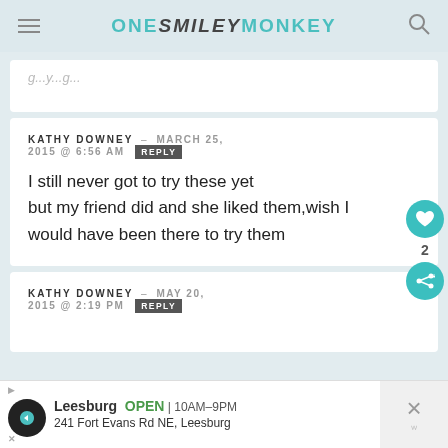ONE SMILEY MONKEY
I still never got to try these yet but my friend did and she liked them,wish I would have been there to try them
KATHY DOWNEY - MARCH 25, 2015 @ 6:56 AM REPLY
I still never got to try these yet but my friend did and she liked them,wish I would have been there to try them
KATHY DOWNEY - MAY 20, 2015 @ 2:19 PM REPLY